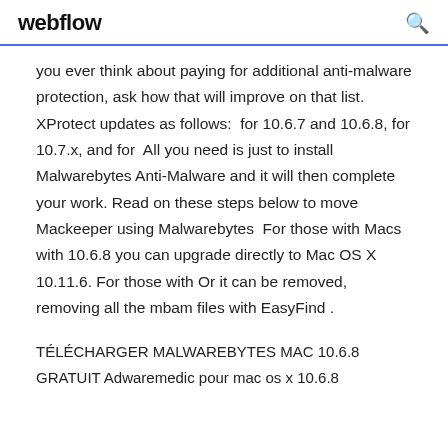webflow
you ever think about paying for additional anti-malware protection, ask how that will improve on that list. XProtect updates as follows: for 10.6.7 and 10.6.8, for 10.7.x, and for All you need is just to install Malwarebytes Anti-Malware and it will then complete your work. Read on these steps below to move Mackeeper using Malwarebytes For those with Macs with 10.6.8 you can upgrade directly to Mac OS X 10.11.6. For those with Or it can be removed, removing all the mbam files with EasyFind .
TÉLÉCHARGER MALWAREBYTES MAC 10.6.8 GRATUIT Adwaremedic pour mac os x 10.6.8